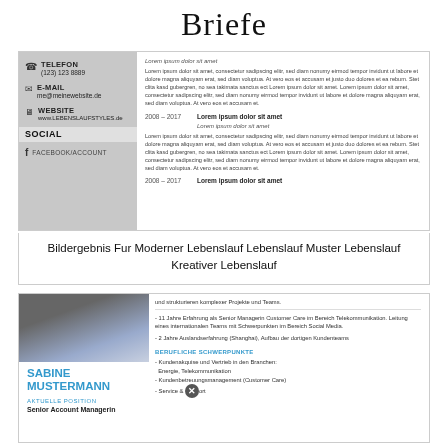Briefe
[Figure (screenshot): Screenshot of a resume/CV template with a gray sidebar showing contact info (phone, email, website, social) and body content with Lorem ipsum text and year entries (2008-2017).]
Bildergebnis Fur Moderner Lebenslauf Lebenslauf Muster Lebenslauf Kreativer Lebenslauf
[Figure (screenshot): Screenshot of a resume/CV for Sabine Mustermann, Senior Account Managerin, with photo, contact details, and professional highlights in German.]